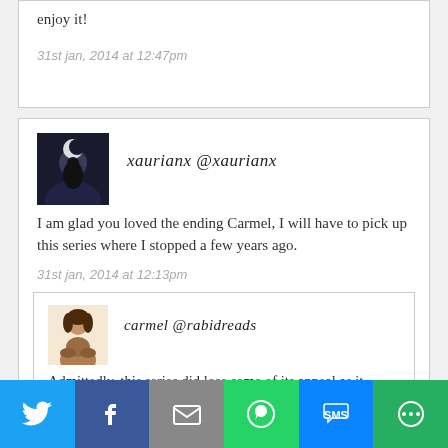enjoy it!
31st jan, 2014 at 12:47pm
xaurianx @xaurianx
I am glad you loved the ending Carmel, I will have to pick up this series where I stopped a few years ago.
31st jan, 2014 at 12:13pm
carmel @rabidreads
Admittedly, this series did lose some of its appeal as it progressed but I liked how it ended. It's so hard saying goodbye to Cat & Bones!